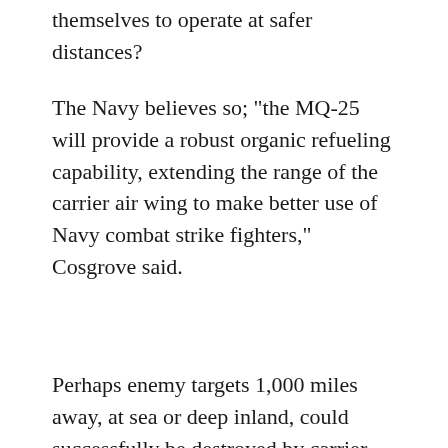themselves to operate at safer distances?
The Navy believes so; "the MQ-25 will provide a robust organic refueling capability, extending the range of the carrier air wing to make better use of Navy combat strike fighters," Cosgrove said.
Perhaps enemy targets 1,000 miles away, at sea or deep inland, could successfully be destroyed by carrier-launched fighters operating with a vastly expanded combat radius. Wouldn't this be of crucial importance in a world of quickly